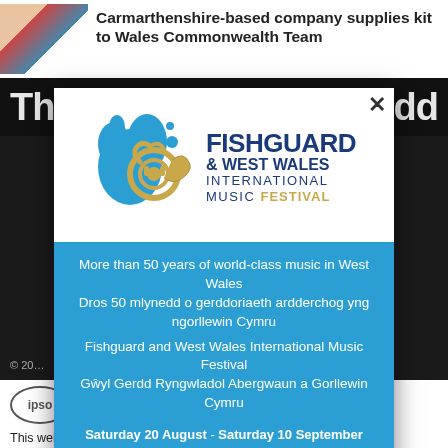Carmarthenshire-based company supplies kit to Wales Commonwealth Team
[Figure (photo): Group of people photo thumbnail in top left news article]
[Figure (logo): Fishguard & West Wales International Music Festival logo with blue splash graphic and gold French horn]
More than 50 years of world-class music in West Wales
Dros 50 mlynedd o gerddoriaeth ardderchog yng ngorllewin Cymru
Fishguard and West Wales International Music Festival
Gŵyl Gerdd Ryngwladol Abergwaun a Gorllewin Cymru
Saturday 20 August - Saturday 10 September Dydd Sadwrn 20 Awst - Dydd Sadwrn 10 Medi
CLICK HERE
© 20...                                                    me
[Figure (logo): IPSO Regulated logo - circular badge with ipso text]
Regulated
This website and associated newspapers adhere to the